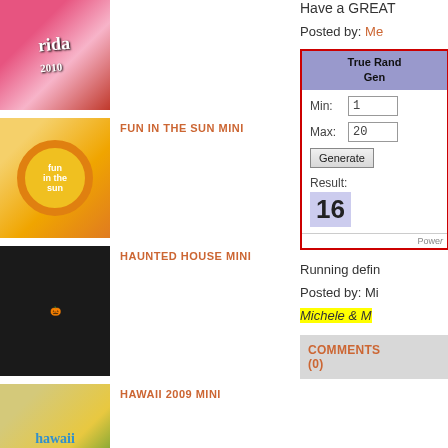[Figure (photo): Florida 2010 scrapbook mini album thumbnail]
FUN IN THE SUN MINI
[Figure (photo): Fun in the Sun mini album with yellow sunburst design]
HAUNTED HOUSE MINI
[Figure (photo): Haunted house mini album dark themed]
HAWAII 2009 MINI
[Figure (photo): Hawaii 2009 mini album yellow themed]
I ♥ RUNWAY SHOWS...
[Figure (photo): Three women photo for runway shows entry]
Have a GREAT
Posted by: Me
[Figure (screenshot): True Random Number Generator showing Min:1, Max:20, Result:16]
Running defin
Posted by: Mi
Michele & M
COMMENTS (0)